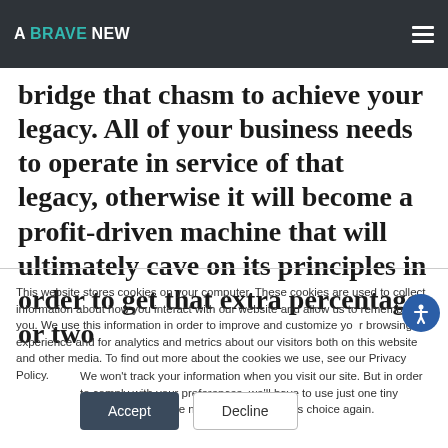A BRAVE NEW
bridge that chasm to achieve your legacy. All of your business needs to operate in service of that legacy, otherwise it will become a profit-driven machine that will ultimately cave on its principles in order to get that extra percentage or two
This website stores cookies on your computer. These cookies are used to collect information about how you interact with our website and allow us to remember you. We use this information in order to improve and customize your browsing experience and for analytics and metrics about our visitors both on this website and other media. To find out more about the cookies we use, see our Privacy Policy.
We won't track your information when you visit our site. But in order to comply with your preferences, we'll have to use just one tiny cookie so that you're not asked to make this choice again.